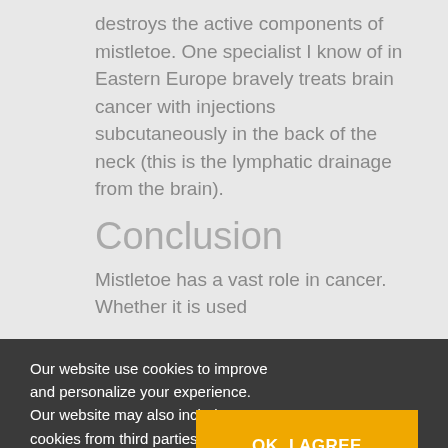destroys the active components of mistletoe. One specialist I know of in Eastern Europe bravely treats brain cancer with injections subcutaneously in the back of the neck (this is the lymphatic drainage from the brain).
Conclusion
Mistletoe has a vast role in cancer. Whether it is used
Our website use cookies to improve and personalize your experience. Our website may also include cookies from third parties like Google Adsense, Google Analytics, Youtube. By using the website, you consent to the use of cookies. We've updated our Privacy Policy. Please click on the button to check our Privacy Policy.